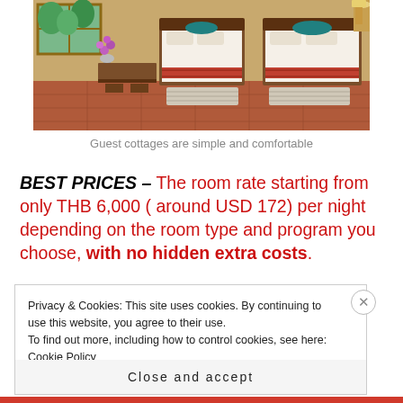[Figure (photo): Hotel guest cottage room interior with two wooden beds, white linens, teal pillows, red/brown decorative runners, terracotta tile floor, striped rugs, window with greenery outside, and a wooden dresser with flower vase and fan decoration.]
Guest cottages are simple and comfortable
BEST PRICES – The room rate starting from only THB 6,000 ( around USD 172) per night depending on the room type and program you choose, with no hidden extra costs.
Privacy & Cookies: This site uses cookies. By continuing to use this website, you agree to their use.
To find out more, including how to control cookies, see here: Cookie Policy
Close and accept